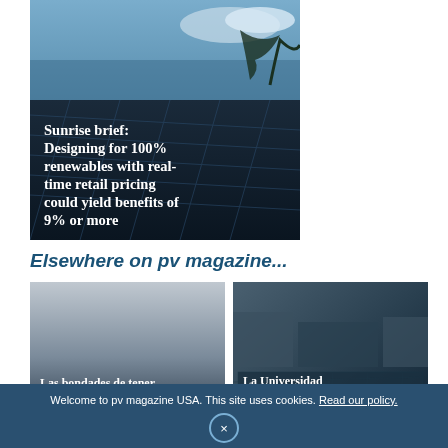[Figure (photo): Aerial photo of solar panels on a rooftop with palm trees, ocean and cloudy sky in background. Overlay text: 'Sunrise brief: Designing for 100% renewables with real-time retail pricing could yield benefits of 9% or more']
Elsewhere on pv magazine...
[Figure (photo): Gray gradient image with text overlay: 'Las bondades de tener al Instituto de Energías Renovables en']
[Figure (photo): Aerial photo of solar panel arrays near buildings. Overlay text: 'La Universidad Adventista de Chile, la primera carbononeutral']
Welcome to pv magazine USA. This site uses cookies. Read our policy.